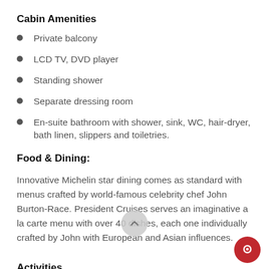Cabin Amenities
Private balcony
LCD TV, DVD player
Standing shower
Separate dressing room
En-suite bathroom with shower, sink, WC, hair-dryer, bath linen, slippers and toiletries.
Food & Dining:
Innovative Michelin star dining comes as standard with menus crafted by world-famous celebrity chef John Burton-Race. President Cruises serves an imaginative a la carte menu with over 40 dishes, each one individually crafted by John with European and Asian influences.
Activities